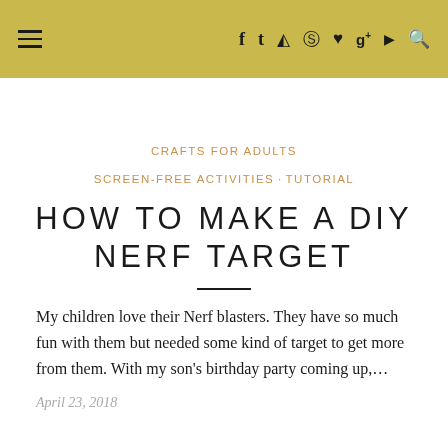☰  f  t  ☷  ⊕  ♥  g+  ▶  🔍
CRAFTS FOR ADULTS  SCREEN-FREE ACTIVITIES · TUTORIAL
HOW TO MAKE A DIY NERF TARGET
My children love their Nerf blasters. They have so much fun with them but needed some kind of target to get more from them. With my son's birthday party coming up,...
April 23, 2018